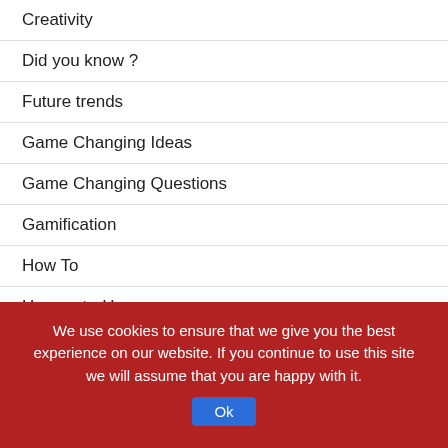Creativity
Did you know ?
Future trends
Game Changing Ideas
Game Changing Questions
Gamification
How To
Human-to-Human
Innovation
Innovation Culture
Innovative Products
We use cookies to ensure that we give you the best experience on our website. If you continue to use this site we will assume that you are happy with it.